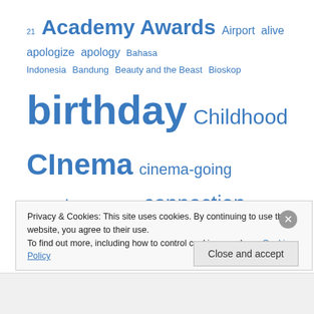[Figure (infographic): Tag cloud with various blog/website tags in blue text at different sizes, including: 21, Academy Awards, Airport, alive, apologize, apology, Bahasa Indonesia, Bandung, Beauty and the Beast, Bioskop, birthday, Childhood, CInema, cinema-going experience, college, connection, conversation, death, English, exhale, falling in love, family, Film, flight, forgive, forgiveness, Friend, goodbye, Grease, Health, heart, high school, home, human, i love you, Jakarta, Jurassic Park, less than 100 words, life, lifetime, living, love, Malang]
Privacy & Cookies: This site uses cookies. By continuing to use this website, you agree to their use. To find out more, including how to control cookies, see here: Cookie Policy
Close and accept